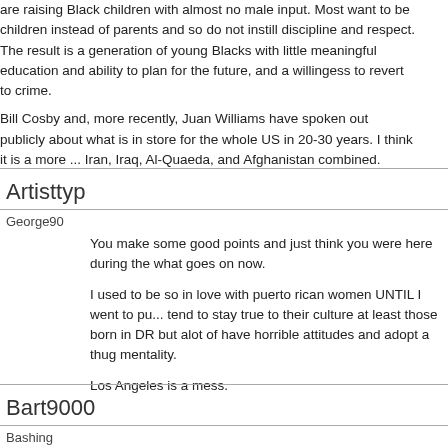are raising Black children with almost no male input. Most want to be children instead of parents and so do not instill discipline and respect. The result is a generation of young Blacks with little meaningful education and ability to plan for the future, and a willingess to revert to crime.
Bill Cosby and, more recently, Juan Williams have spoken out publicly about what is in store for the whole US in 20-30 years. I think it is a more ... Iran, Iraq, Al-Quaeda, and Afghanistan combined.
Artisttyp
George90
You make some good points and just think you were here during the what goes on now.
I used to be so in love with puerto rican women UNTIL I went to pu... tend to stay true to their culture at least those born in DR but alot of have horrible attitudes and adopt a thug mentality.
Los Angeles is a mess.
Bart9000
Bashing